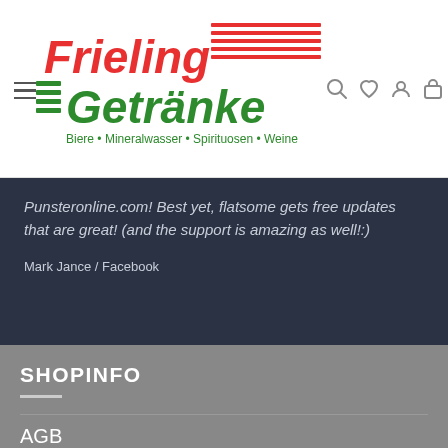[Figure (logo): Frieling Getränke logo with red and green horizontal lines, red italic 'Frieling' text, green italic 'Getränke' text, tagline 'Biere • Mineralwasser • Spirituosen • Weine']
Punsteronline.com! Best yet, flatsome gets free updates that are great! (and the support is amazing as well!:)
Mark Jance / Facebook
SHOPINFO
AGB
Datenschutzerklärung